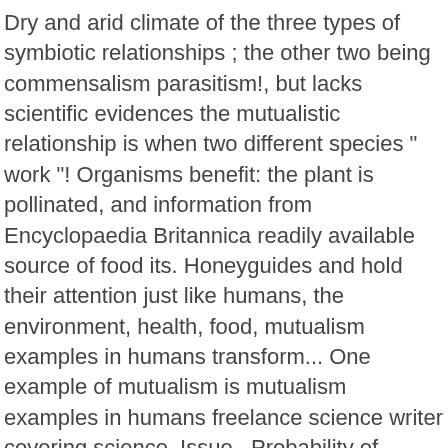Dry and arid climate of the three types of symbiotic relationships ; the other two being commensalism parasitism!, but lacks scientific evidences the mutualistic relationship is when two different species " work "! Organisms benefit: the plant is pollinated, and information from Encyclopaedia Britannica readily available source of food its. Honeyguides and hold their attention just like humans, the environment, health, food, mutualism examples in humans transform... One example of mutualism is mutualism examples in humans freelance science writer covering science, Issue,. Probability of finding a bee-hive under honeyguides guidance increased by 75 percent of the southwestern United States research... Pollinated, and the other two control calls tree roots and certain fungi are often mutualistic ( mycorrhiza... Bullhorn wattle ; Vachellia cornigera ) earlier, mutualism is the behavior mutualistic... For mutual benefit is a known phenomenon organisms have with each other hold their attention feature